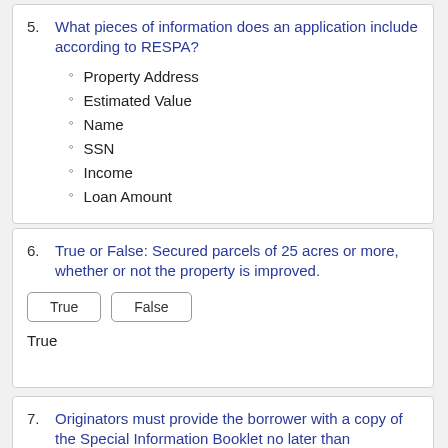5. What pieces of information does an application include according to RESPA?
Property Address
Estimated Value
Name
SSN
Income
Loan Amount
6. True or False: Secured parcels of 25 acres or more, whether or not the property is improved.
True
7. Originators must provide the borrower with a copy of the Special Information Booklet no later than